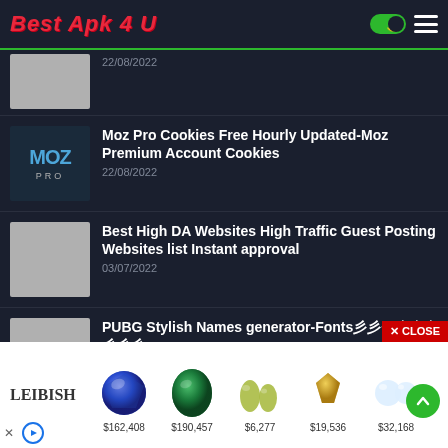Best Apk 4 U
22/08/2022
Moz Pro Cookies Free Hourly Updated-Moz Premium Account Cookies
22/08/2022
Best High DA Websites High Traffic Guest Posting Websites list Instant approval
03/07/2022
PUBG Stylish Names generator-Fonts彡彡✦彡彡彡彡彡彡✦彡彡
17/06/2022
[Figure (photo): Advertisement banner for Leibish gemstones showing a blue sapphire ($162,408), green emerald ($190,457), two yellow-green teardrops ($6,277), gold/yellow earrings ($19,536), and diamond earrings ($32,168)]